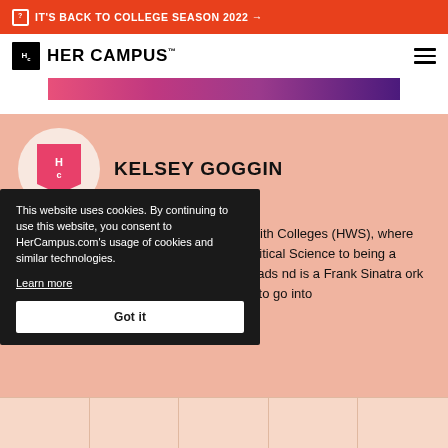⬛ IT'S BACK TO COLLEGE SEASON 2022 →
[Figure (logo): Her Campus logo with Hc monogram in black box and HER CAMPUS text]
[Figure (illustration): Pink to purple gradient decorative strip/banner image]
KELSEY GOGGIN
Kelsey is senior at Hobart and William Smith Colleges (HWS), where she is pursuing her Bachelor of Arts in Political Science ... to being a campus contributor ... ember of the HWS Leads ... nd is a Frank Sinatra ... ork for a major news outlet ... olitics. She hopes to go into
This website uses cookies. By continuing to use this website, you consent to HerCampus.com's usage of cookies and similar technologies. Learn more Got it